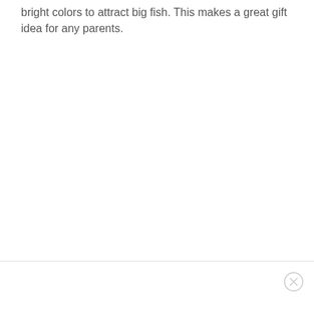bright colors to attract big fish. This makes a great gift idea for any parents.
[Figure (other): A horizontal divider line separating content from a footer/ad area, with a close/dismiss button (circle with X) in the bottom-right corner of the footer area.]